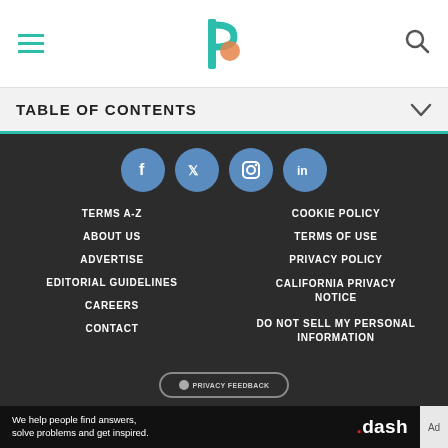TABLE OF CONTENTS
[Figure (logo): Byrdie logo (stylized B with orange circle)]
[Figure (infographic): Social media icons: Facebook, Twitter, Instagram, LinkedIn on teal/blue circles]
TERMS A-Z
COOKIE POLICY
ABOUT US
TERMS OF USE
ADVERTISE
PRIVACY POLICY
EDITORIAL GUIDELINES
CALIFORNIA PRIVACY NOTICE
CAREERS
DO NOT SELL MY PERSONAL INFORMATION
CONTACT
[Figure (screenshot): PRIVACY FEEDBACK button partially visible]
We help people find answers, solve problems and get inspired. .dash — Ad